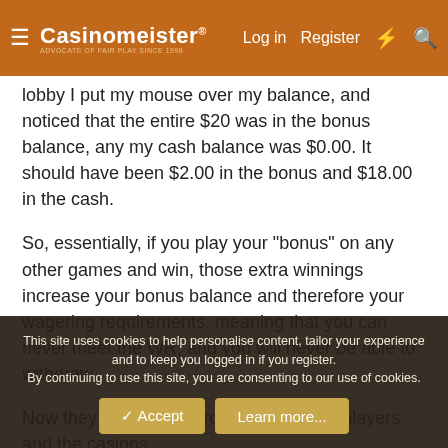Casinomeister® — Log in | Register
lobby I put my mouse over my balance, and noticed that the entire $20 was in the bonus balance, any my cash balance was $0.00. It should have been $2.00 in the bonus and $18.00 in the cash.
So, essentially, if you play your "bonus" on any other games and win, those extra winnings increase your bonus balance and therefore your wagering requirements, meaning that you can never meet the WR, and you will never be able to withdraw.
Now they truly are freerolls, for both the players and the casinos.
(And in case anyone is wondering - no, I had not deposited,
This site uses cookies to help personalise content, tailor your experience and to keep you logged in if you register.
By continuing to use this site, you are consenting to our use of cookies.